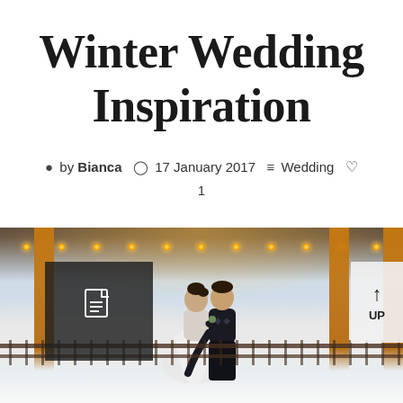Winter Wedding Inspiration
by Bianca  17 January 2017  Wedding  1
[Figure (photo): Wedding couple kissing under a pavilion decorated with warm string lights in a snowy winter setting. The groom is holding the bride in his arms. Warm amber wooden columns frame the scene.]